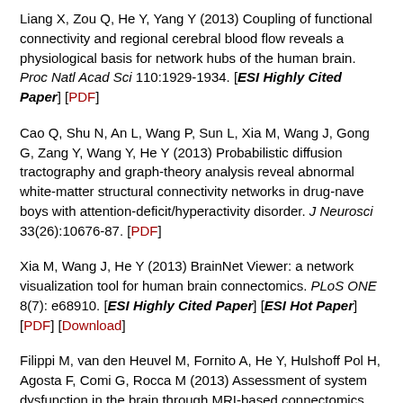Liang X, Zou Q, He Y, Yang Y (2013) Coupling of functional connectivity and regional cerebral blood flow reveals a physiological basis for network hubs of the human brain. Proc Natl Acad Sci 110:1929-1934. [ESI Highly Cited Paper] [PDF]
Cao Q, Shu N, An L, Wang P, Sun L, Xia M, Wang J, Gong G, Zang Y, Wang Y, He Y (2013) Probabilistic diffusion tractography and graph-theory analysis reveal abnormal white-matter structural connectivity networks in drug-nave boys with attention-deficit/hyperactivity disorder. J Neurosci 33(26):10676-87. [PDF]
Xia M, Wang J, He Y (2013) BrainNet Viewer: a network visualization tool for human brain connectomics. PLoS ONE 8(7):e68910. [ESI Highly Cited Paper] [ESI Hot Paper] [PDF] [Download]
Filippi M, van den Heuvel M, Fornito A, He Y, Hulshoff Pol H, Agosta F, Comi G, Rocca M (2013) Assessment of system dysfunction in the brain through MRI-based connectomics. Lancet Neurol 12:1189-1199. [PDF]